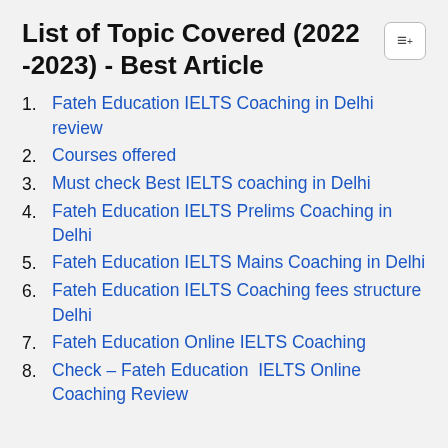List of Topic Covered (2022-2023) - Best Article
Fateh Education IELTS Coaching in Delhi review
Courses offered
Must check Best IELTS coaching in Delhi
Fateh Education IELTS Prelims Coaching in Delhi
Fateh Education IELTS Mains Coaching in Delhi
Fateh Education IELTS Coaching fees structure Delhi
Fateh Education Online IELTS Coaching
Check – Fateh Education  IELTS Online Coaching Review